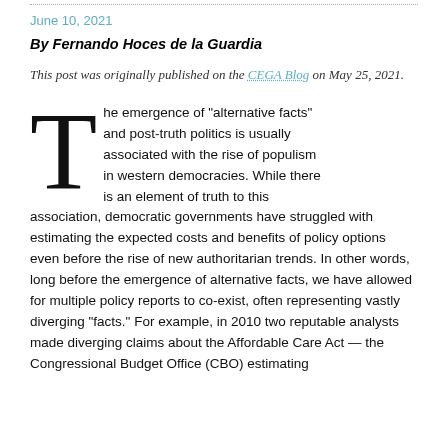June 10, 2021
By Fernando Hoces de la Guardia
This post was originally published on the CEGA Blog on May 25, 2021.
The emergence of “alternative facts” and post-truth politics is usually associated with the rise of populism in western democracies. While there is an element of truth to this association, democratic governments have struggled with estimating the expected costs and benefits of policy options even before the rise of new authoritarian trends. In other words, long before the emergence of alternative facts, we have allowed for multiple policy reports to co-exist, often representing vastly diverging “facts.” For example, in 2010 two reputable analysts made diverging claims about the Affordable Care Act — the Congressional Budget Office (CBO) estimating